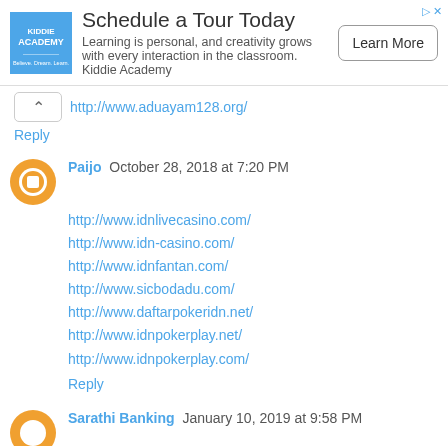[Figure (other): Kiddie Academy advertisement banner with logo, text 'Schedule a Tour Today', description text, and Learn More button]
http://www.aduayam128.org/
Reply
Paijo  October 28, 2018 at 7:20 PM
http://www.idnlivecasino.com/
http://www.idn-casino.com/
http://www.idnfantan.com/
http://www.sicbodadu.com/
http://www.daftarpokeridn.net/
http://www.idnpokerplay.net/
http://www.idnpokerplay.com/
Reply
Sarathi Banking  January 10, 2019 at 9:58 PM